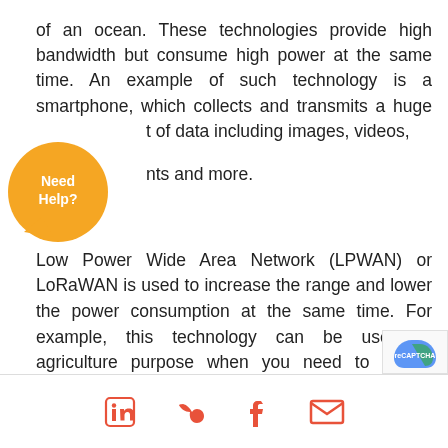of an ocean. These technologies provide high bandwidth but consume high power at the same time. An example of such technology is a smartphone, which collects and transmits a huge amount of data including images, videos, documents and more.
[Figure (illustration): Orange circular speech bubble with white text 'Need Help?' and a tail pointing downward-left]
Low Power Wide Area Network (LPWAN) or LoRaWAN is used to increase the range and lower the power consumption at the same time. For example, this technology can be used in agriculture purpose when you need to collect moisture data of farming land.
[Figure (logo): reCAPTCHA logo in bottom right corner]
Social share icons: LinkedIn, Twitter, Facebook, Email